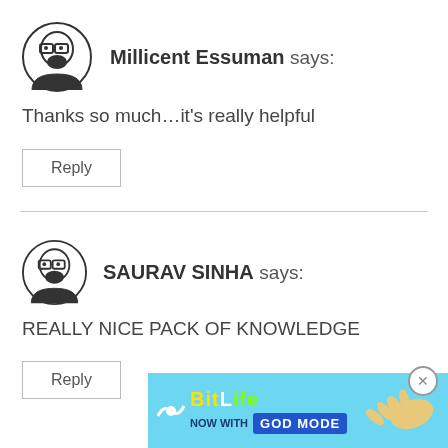[Figure (illustration): User avatar icon: cartoon face with glasses and beard]
Millicent Essuman says:
Thanks so much…it's really helpful
Reply
[Figure (illustration): User avatar icon: cartoon face with glasses and beard]
SAURAV SINHA says:
REALLY NICE PACK OF KNOWLEDGE
Reply
[Figure (illustration): BitLife advertisement banner: NOW WITH GOD MODE]